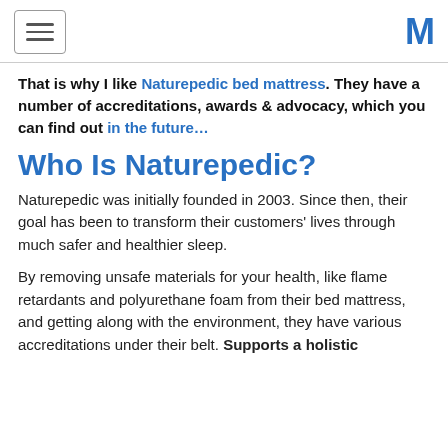[hamburger menu] [M logo]
That is why I like Naturepedic bed mattress. They have a number of accreditations, awards & advocacy, which you can find out in the future…
Who Is Naturepedic?
Naturepedic was initially founded in 2003. Since then, their goal has been to transform their customers' lives through much safer and healthier sleep.
By removing unsafe materials for your health, like flame retardants and polyurethane foam from their bed mattress, and getting along with the environment, they have various accreditations under their belt. Supports a holistic